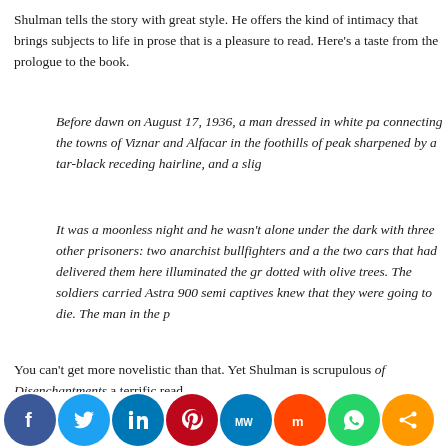Shulman tells the story with great style. He offers the kind of intimacy that brings subjects to life in prose that is a pleasure to read. Here's a taste from the prologue to the book.
Before dawn on August 17, 1936, a man dressed in white pa... connecting the towns of Viznar and Alfacar in the foothills... peak sharpened by a tar-black receding hairline, and a slig...
It was a moonless night and he wasn't alone under the dark... with three other prisoners: two anarchist bullfighters and a... the two cars that had delivered them here illuminated the gr... dotted with olive trees. The soldiers carried Astra 900 semi... captives knew that they were going to die. The man in the p...
You can't get more novelistic than that. Yet Shulman is scrupulous... of Disenchantments a terrific read.
[Figure (infographic): Social media sharing buttons: Facebook (blue), Twitter (light blue), LinkedIn (blue), Pinterest (red), MeWe (teal), Mix (orange-red), WhatsApp (green), Share (orange)]